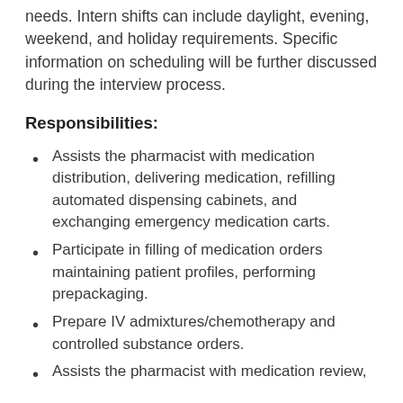needs. Intern shifts can include daylight, evening, weekend, and holiday requirements. Specific information on scheduling will be further discussed during the interview process.
Responsibilities:
Assists the pharmacist with medication distribution, delivering medication, refilling automated dispensing cabinets, and exchanging emergency medication carts.
Participate in filling of medication orders maintaining patient profiles, performing prepackaging.
Prepare IV admixtures/chemotherapy and controlled substance orders.
Assists the pharmacist with medication review,